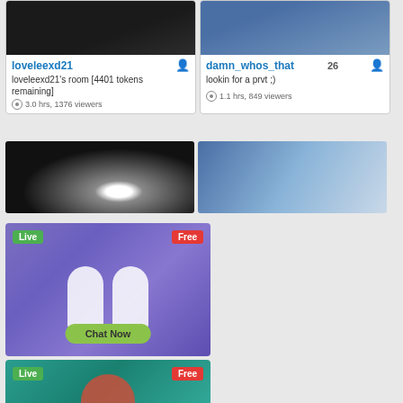[Figure (screenshot): Stream card for loveleexd21: dark thumbnail, username, room description with 4401 tokens remaining, 3.0 hrs 1376 viewers]
[Figure (screenshot): Stream card for damn_whos_that age 26: thumbnail, username, 'lookin for a prvt ;)', 1.1 hrs 849 viewers]
[Figure (screenshot): Dark room video thumbnail]
[Figure (screenshot): Bed/body video thumbnail with blue tones]
[Figure (screenshot): Live Free stream card with two people on purple background and Chat Now button]
[Figure (screenshot): Live Free stream card with person in red on teal background]